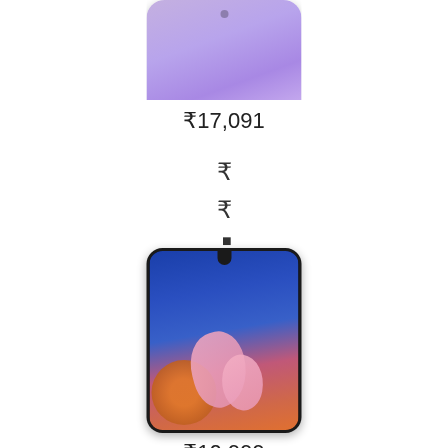[Figure (photo): Partial top view of a smartphone with purple/lavender gradient screen, showing just the top portion of the device]
₹17,091
₹
₹
▪
[Figure (photo): Samsung Galaxy A20s smartphone showing colorful 3D abstract wallpaper with pink shapes, orange and blue gradient background]
₹10,999
₹
₹
▪
[Figure (photo): Partial top view of another smartphone (OnePlus) with blue gradient screen, partially cut off at bottom of page]